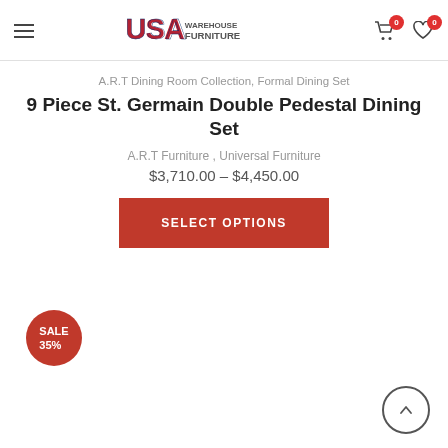USA Warehouse Furniture — navigation header with cart (0) and wishlist (0)
A.R.T Dining Room Collection, Formal Dining Set
9 Piece St. Germain Double Pedestal Dining Set
A.R.T Furniture , Universal Furniture
$3,710.00 – $4,450.00
SELECT OPTIONS
SALE 35%